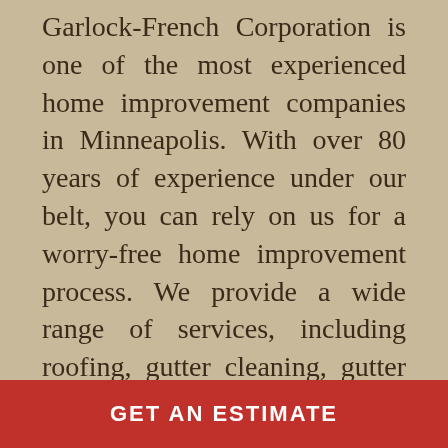Garlock-French Corporation is one of the most experienced home improvement companies in Minneapolis. With over 80 years of experience under our belt, you can rely on us for a worry-free home improvement process. We provide a wide range of services, including roofing, gutter cleaning, gutter maintenance, masonry, and architectural metalwork. Give us a call to learn more about managing your home improvement project or to request a quote.
GET AN ESTIMATE